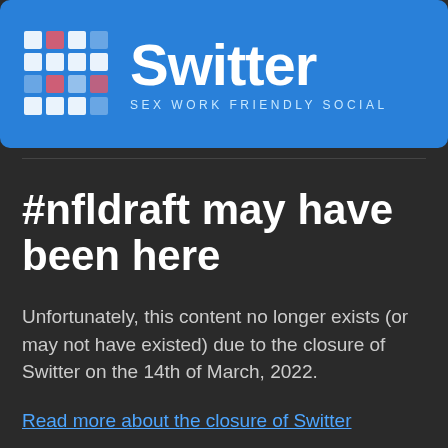[Figure (logo): Switter logo banner with hashtag grid icon and text 'Switter SEX WORK FRIENDLY SOCIAL' on blue background]
#nfldraft may have been here
Unfortunately, this content no longer exists (or may not have existed) due to the closure of Switter on the 14th of March, 2022.
Read more about the closure of Switter